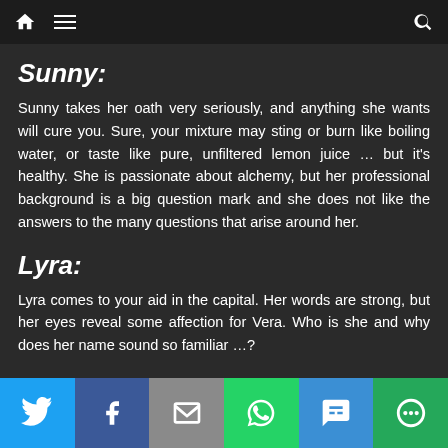Navigation bar with home, menu, and search icons
Sunny:
Sunny takes her oath very seriously, and anything she wants will cure you. Sure, your mixture may sting or burn like boiling water, or taste like pure, unfiltered lemon juice … but it's healthy. She is passionate about alchemy, but her professional background is a big question mark and she does not like the answers to the many questions that arise around her.
Lyra:
Lyra comes to your aid in the capital. Her words are strong, but her eyes reveal some affection for Vera. Who is she and why does her name sound so familiar …?
Social share bar: Twitter, Facebook, Email, WhatsApp, SMS, More